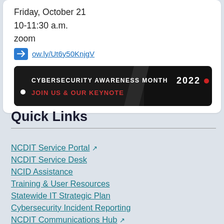Friday, October 21
10-11:30 a.m.
zoom
ow.ly/Ut6y50KnjgV
[Figure (photo): Cybersecurity Awareness Month 2022 event banner — dark background with text 'CYBERSECURITY AWARENESS MONTH', '2022' in red, white dot, and partial text 'JOIN US & OUR KEYNOTE']
Quick Links
NCDIT Service Portal
NCDIT Service Desk
NCID Assistance
Training & User Resources
Statewide IT Strategic Plan
Cybersecurity Incident Reporting
NCDIT Communications Hub